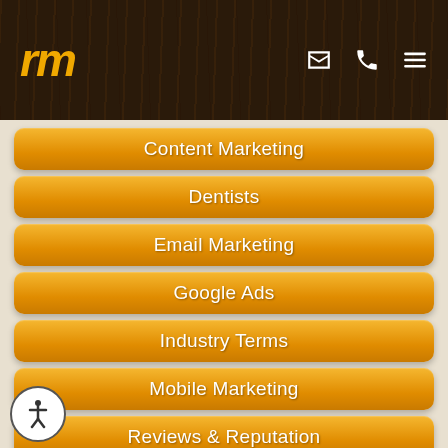[Figure (logo): RM logo in orange italic text on dark wood-textured background with email, phone, and menu icons]
Content Marketing
Dentists
Email Marketing
Google Ads
Industry Terms
Mobile Marketing
Reviews & Reputation
RM News